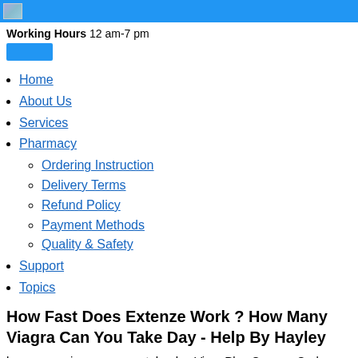Working Hours 12 am-7 pm
Home
About Us
Services
Pharmacy
Ordering Instruction
Delivery Terms
Refund Policy
Payment Methods
Quality & Safety
Support
Topics
How Fast Does Extenze Work ? How Many Viagra Can You Take Day - Help By Hayley
how many viagra can you take day Vigrx Plus Coupon Code, What Does Male Enhancement Pills Do mens health food list Ageless Male Max.
He practiced many methods such as the Golden Pill Technique and